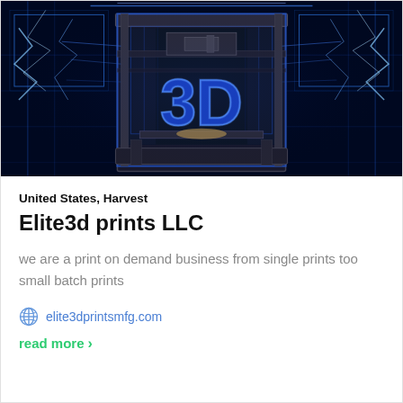[Figure (photo): A 3D printer with metallic frame on a dark blue/black background with glowing blue neon grid lines and a large blue 3D text logo in the center foreground]
United States, Harvest
Elite3d prints LLC
we are a print on demand business from single prints too small batch prints
elite3dprintsmfg.com
read more >